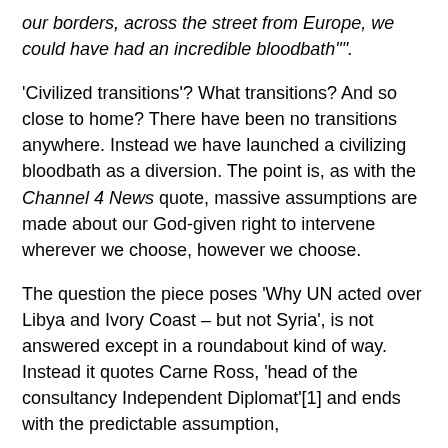our borders, across the street from Europe, we could have had an incredible bloodbath"".
'Civilized transitions'? What transitions? And so close to home? There have been no transitions anywhere. Instead we have launched a civilizing bloodbath as a diversion. The point is, as with the Channel 4 News quote, massive assumptions are made about our God-given right to intervene wherever we choose, however we choose.
The question the piece poses 'Why UN acted over Libya and Ivory Coast – but not Syria', is not answered except in a roundabout kind of way. Instead it quotes Carne Ross, 'head of the consultancy Independent Diplomat'[1] and ends with the predictable assumption,
""If Libya turns into a quagmire – a protracted civil war – then they will be reluctant to even hesitate about the re kind of